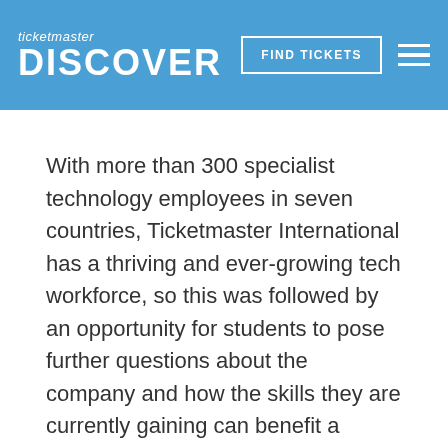ticketmaster DISCOVER | FIND TICKETS
With more than 300 specialist technology employees in seven countries, Ticketmaster International has a thriving and ever-growing tech workforce, so this was followed by an opportunity for students to pose further questions about the company and how the skills they are currently gaining can benefit a business like Ticketmaster.